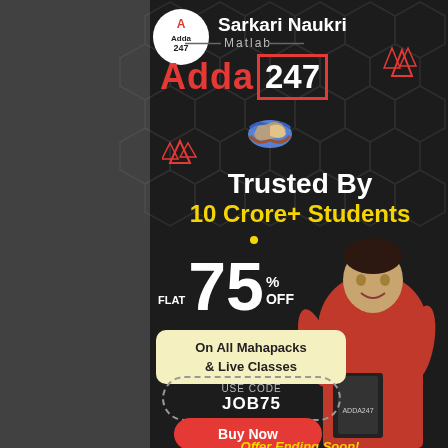[Figure (logo): Adda247 logo in white circle at top]
Sarkari Naukri
Matlab
Adda 247
[Figure (illustration): Handshake emoji/icon]
Trusted By
10 Crore+ Students
FLAT 75% OFF
On All Mahapacks & Live Classes
USE CODE JOB75
Buy Now
Offer Ending Soon!
[Figure (photo): Young male student in red t-shirt holding books, smiling]